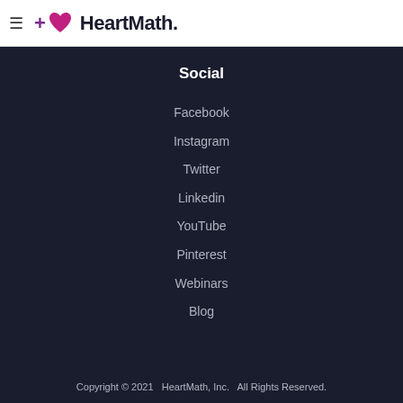HeartMath
Social
Facebook
Instagram
Twitter
Linkedin
YouTube
Pinterest
Webinars
Blog
Copyright © 2021   HeartMath, Inc.   All Rights Reserved.